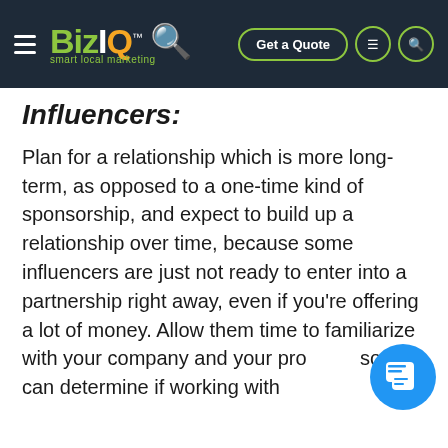BizIQ™ smart local marketing | Get a Quote
Influencers:
Plan for a relationship which is more long-term, as opposed to a one-time kind of sponsorship, and expect to build up a relationship over time, because some influencers are just not ready to enter into a partnership right away, even if you're offering a lot of money. Allow them time to familiarize with your company and your products so they can determine if working with